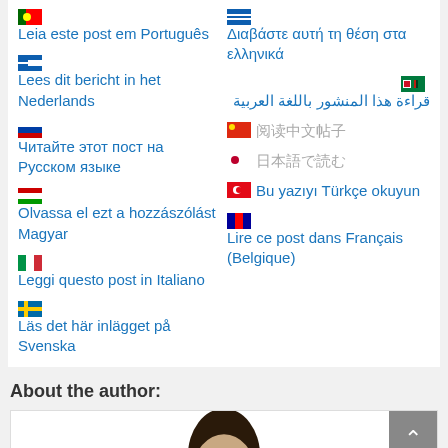🇵🇹 Leia este post em Português
🇬🇷 Διαβάστε αυτή τη θέση στα ελληνικά
🇳🇱 Lees dit bericht in het Nederlands
🇦🇪 قراءة هذا المنشور باللغة العربية
🇷🇺 Читайте этот пост на Русском языке
🇨🇳 [Chinese characters]
🇯🇵 [Japanese characters]
🇭🇺 Olvassa el ezt a hozzászólást Magyar
🇹🇷 Bu yazıyı Türkçe okuyun
🇮🇹 Leggi questo post in Italiano
🇧🇪 Lire ce post dans Français (Belgique)
🇸🇪 Läs det här inlägget på Svenska
About the author:
[Figure (photo): Author photo showing a person's head and shoulders, partially visible at bottom of page]